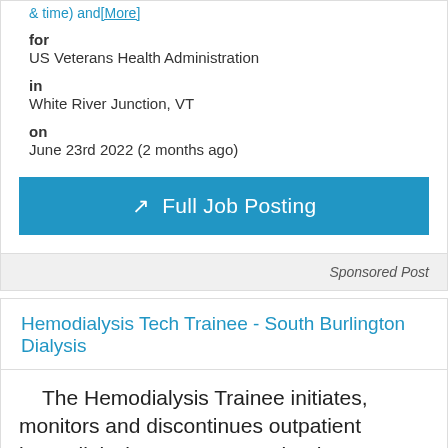& time) and[More]
for
US Veterans Health Administration
in
White River Junction, VT
on
June 23rd 2022 (2 months ago)
Full Job Posting
Sponsored Post
Hemodialysis Tech Trainee - South Burlington Dialysis
The Hemodialysis Trainee initiates, monitors and discontinues outpatient hemodialysis treatments under the supervision of an RN and a preceptor (during the... [More]